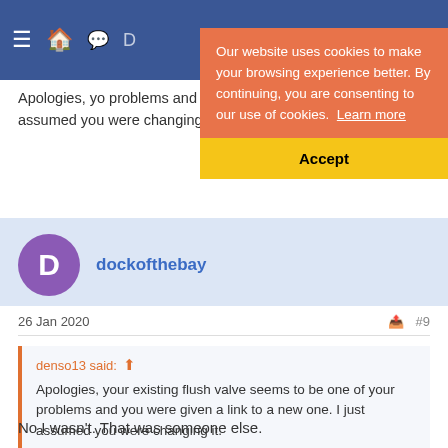Navigation bar with menu icon and home/notification icons
Apologies, you were changing it.
Our website uses cookies to make your browsing experience better. By continuing, you are consenting to our use of cookies. Learn more
Accept
dockofthebay
26 Jan 2020
denso13 said:
Apologies, your existing flush valve seems to be one of your problems and you were given a link to a new one. I just assumed you were changing it.
No I wasn't. That was someone else.